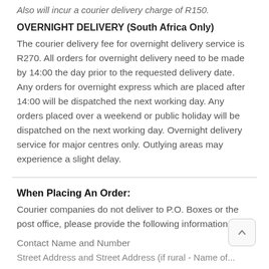Also will incur a courier delivery charge of R150.
OVERNIGHT DELIVERY (South Africa Only)
The courier delivery fee for overnight delivery service is R270. All orders for overnight delivery need to be made by 14:00 the day prior to the requested delivery date. Any orders for overnight express which are placed after 14:00 will be dispatched the next working day. Any orders placed over a weekend or public holiday will be dispatched on the next working day. Overnight delivery service for major centres only. Outlying areas may experience a slight delay.
When Placing An Order:
Courier companies do not deliver to P.O. Boxes or the post office, please provide the following information:
Contact Name and Number
Street Address and Street Address (if rural - Name of...